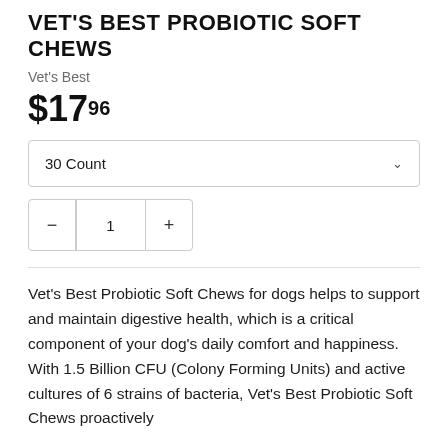VET'S BEST PROBIOTIC SOFT CHEWS
Vet's Best
$17.96
30 Count
1
Vet's Best Probiotic Soft Chews for dogs helps to support and maintain digestive health, which is a critical component of your dog's daily comfort and happiness. With 1.5 Billion CFU (Colony Forming Units) and active cultures of 6 strains of bacteria, Vet's Best Probiotic Soft Chews proactively